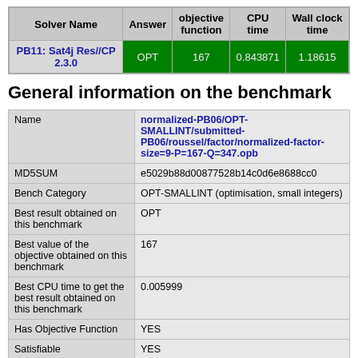| Solver Name | Answer | objective function | CPU time | Wall clock time |
| --- | --- | --- | --- | --- |
| PB11: Sat4j Res//CP 2.3.0 | OPT | 167 | 0.843871 | 1.18615 |
General information on the benchmark
|  |  |
| --- | --- |
| Name | normalized-PB06/OPT-SMALLINT/submitted-PB06/roussel/factor/normalized-factor-size=9-P=167-Q=347.opb |
| MD5SUM | e5029b88d00877528b14c0d6e8688cc0 |
| Bench Category | OPT-SMALLINT (optimisation, small integers) |
| Best result obtained on this benchmark | OPT |
| Best value of the objective obtained on this benchmark | 167 |
| Best CPU time to get the best result obtained on this benchmark | 0.005999 |
| Has Objective Function | YES |
| Satisfiable | YES |
| (Un)Satisfiability was proved | YES |